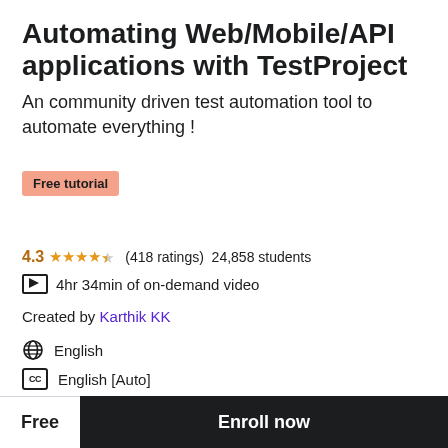Automating Web/Mobile/API applications with TestProject
An community driven test automation tool to automate everything !
Free tutorial
4.3 ★★★★½ (418 ratings)  24,858 students
4hr 34min of on-demand video
Created by Karthik KK
English
English [Auto]
Free
Share ➤
Free   Enroll now